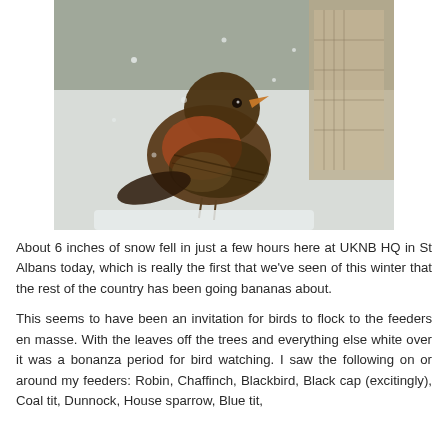[Figure (photo): A robin perched on a snowy surface near a bird feeder, photographed in snowy winter conditions.]
About 6 inches of snow fell in just a few hours here at UKNB HQ in St Albans today, which is really the first that we've seen of this winter that the rest of the country has been going bananas about.
This seems to have been an invitation for birds to flock to the feeders en masse. With the leaves off the trees and everything else white over it was a bonanza period for bird watching. I saw the following on or around my feeders: Robin, Chaffinch, Blackbird, Black cap (excitingly), Coal tit, Dunnock, House sparrow, Blue tit,